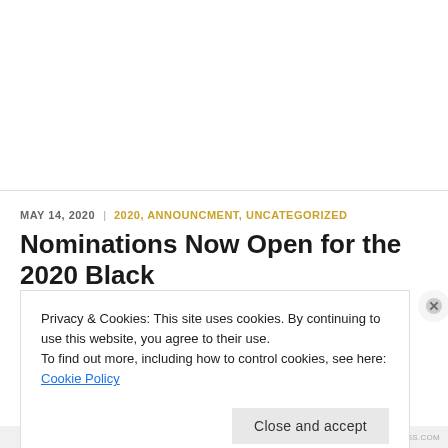MAY 14, 2020  |  2020, ANNOUNCMENT, UNCATEGORIZED
Nominations Now Open for the 2020 Black
Privacy & Cookies: This site uses cookies. By continuing to use this website, you agree to their use.
To find out more, including how to control cookies, see here: Cookie Policy
Close and accept